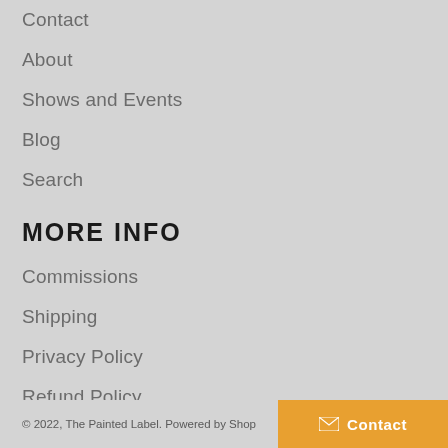Contact
About
Shows and Events
Blog
Search
MORE INFO
Commissions
Shipping
Privacy Policy
Refund Policy
Consultation
© 2022, The Painted Label. Powered by Shopify